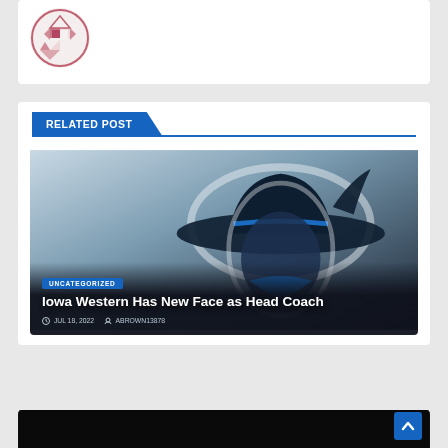[Figure (logo): University or organization logo with red and white geometric/heraldic design on a circular badge]
RELATED POST
[Figure (photo): Iowa Western Reivers mascot logo — a dark navy blue cowboy/gunslinger figure in profile, with a wide-brimmed hat and bandana]
UNCATEGORIZED
Iowa Western Has New Face as Head Coach
JUL 18, 2022   ABROWN13878
[Figure (photo): Partial view of a photograph at bottom of page, mostly black]